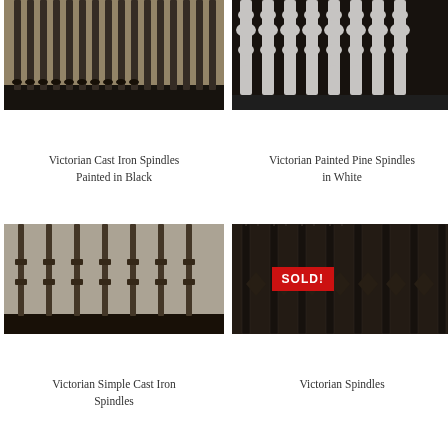[Figure (photo): Victorian cast iron spindles painted black, multiple spindles standing vertically]
Victorian Cast Iron Spindles
Painted in Black
[Figure (photo): Victorian painted pine spindles in white, ornate turned wood balusters]
Victorian Painted Pine Spindles
in White
[Figure (photo): Victorian simple cast iron spindles, slender dark metal spindles standing upright, with SOLD! badge overlay]
Victorian Simple Cast Iron
Spindles
[Figure (photo): Victorian spindles, ornate cast iron balusters with decorative diamond and scroll motifs, dark metal]
Victorian Spindles